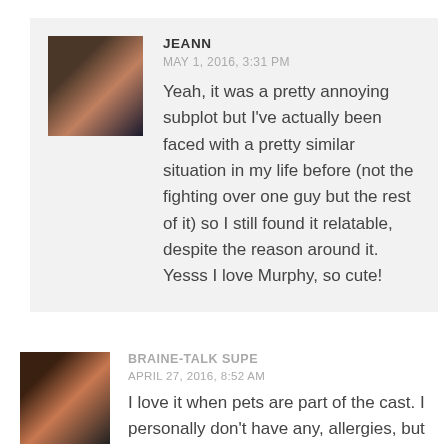[Figure (photo): Profile avatar photo of Jeann, a young Asian woman with long dark hair]
JEANN
MAY 1, 2016, 3:31 PM
Yeah, it was a pretty annoying subplot but I've actually been faced with a pretty similar situation in my life before (not the fighting over one guy but the rest of it) so I still found it relatable, despite the reason around it. Yesss I love Murphy, so cute!
[Figure (photo): Profile avatar photo of Braine-Talk Supe, a young woman smiling]
BRAINE-TALK SUPE
APRIL 27, 2016, 8:52 AM
I love it when pets are part of the cast. I personally don't have any, allergies, but I